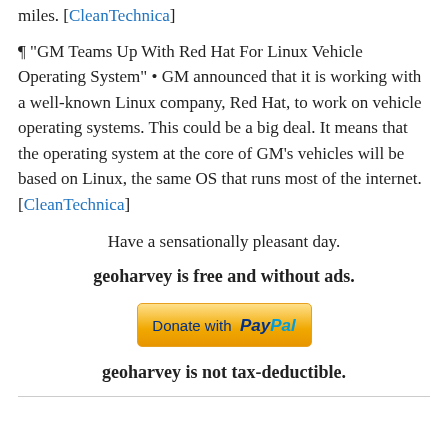miles. [CleanTechnica]
¶ “GM Teams Up With Red Hat For Linux Vehicle Operating System” • GM announced that it is working with a well-known Linux company, Red Hat, to work on vehicle operating systems. This could be a big deal. It means that the operating system at the core of GM’s vehicles will be based on Linux, the same OS that runs most of the internet. [CleanTechnica]
Have a sensationally pleasant day.
geoharvey is free and without ads.
[Figure (other): Donate with PayPal button]
geoharvey is not tax-deductible.